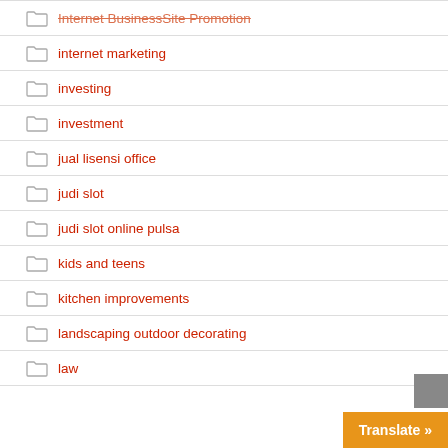Internet BusinessSite Promotion
internet marketing
investing
investment
jual lisensi office
judi slot
judi slot online pulsa
kids and teens
kitchen improvements
landscaping outdoor decorating
law